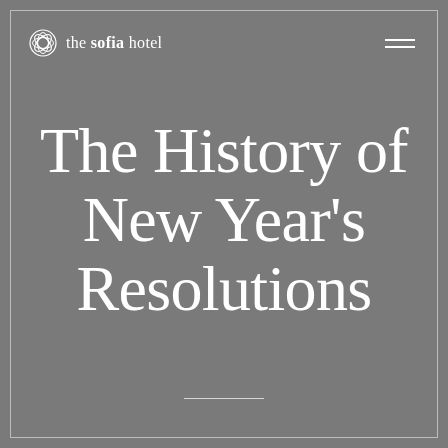the sofia hotel
The History of New Year's Resolutions